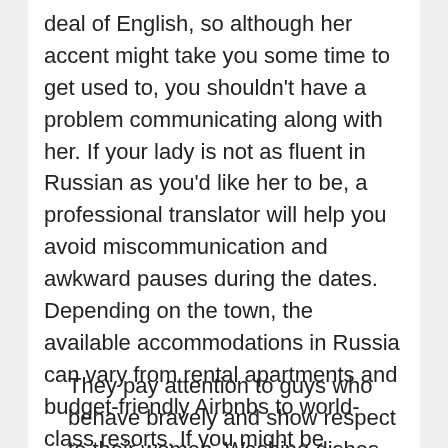deal of English, so although her accent might take you some time to get used to, you shouldn't have a problem communicating along with her. If your lady is not as fluent in Russian as you'd like her to be, a professional translator will help you avoid miscommunication and awkward pauses during the dates. Depending on the town, the available accommodations in Russia can vary from rental apartments and budget-friendly Airbnbs to world-class resorts. If you might be strapped for money, there are additionally hostels, however they do not seem to be the preferred option for apparent reasons.
They pay attention to guys who behave bravely and show respect to their women. Washing dishes, mopping floors, cooking